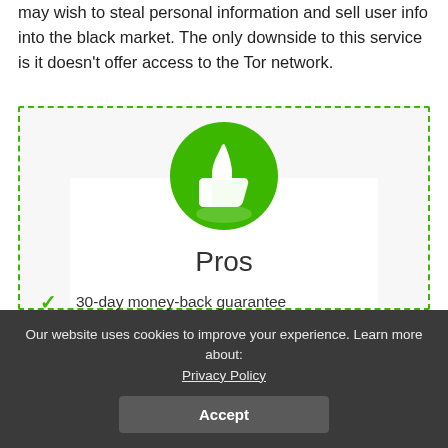may wish to steal personal information and sell user info into the black market. The only downside to this service is it doesn't offer access to the Tor network.
[Figure (illustration): A dashed green border box containing a white card with a green circle logo (thumbs up icon), the heading 'Pros', and two list items with green checkmarks: '30-day money-back guarantee' and 'Servers in over 60 countries worldwide to']
30-day money-back guarantee
Servers in over 60 countries worldwide to
Our website uses cookies to improve your experience. Learn more about: Privacy Policy
Accept